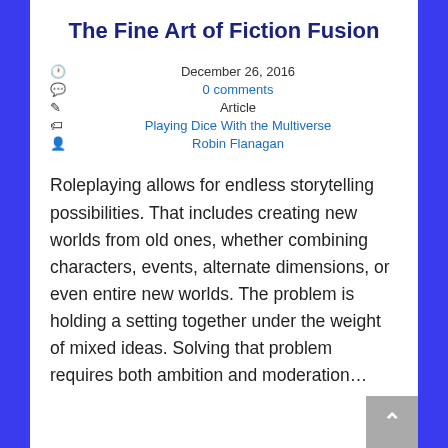The Fine Art of Fiction Fusion
December 26, 2016
0 comments
Article
Playing Dice With the Multiverse
Robin Flanagan
Roleplaying allows for endless storytelling possibilities. That includes creating new worlds from old ones, whether combining characters, events, alternate dimensions, or even entire new worlds. The problem is holding a setting together under the weight of mixed ideas. Solving that problem requires both ambition and moderation…